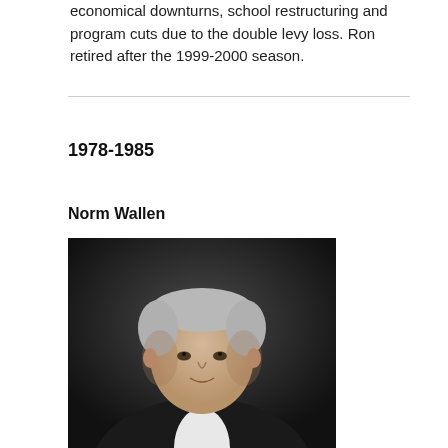economical downturns, school restructuring and program cuts due to the double levy loss. Ron retired after the 1999-2000 season.
1978-1985
Norm Wallen
[Figure (photo): Portrait photograph of Norm Wallen, a middle-aged man with grey hair wearing a black tuxedo with bow tie, against a dark background.]